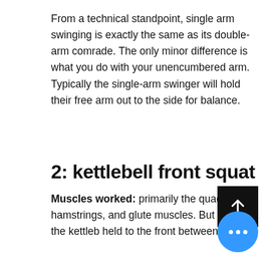From a technical standpoint, single arm swinging is exactly the same as its double-arm comrade. The only minor difference is what you do with your unencumbered arm. Typically the single-arm swinger will hold their free arm out to the side for balance.
2: kettlebell front squat
Muscles worked: primarily the quadriceps, hamstrings, and glute muscles. But because the kettlebell held to the front between the legs...